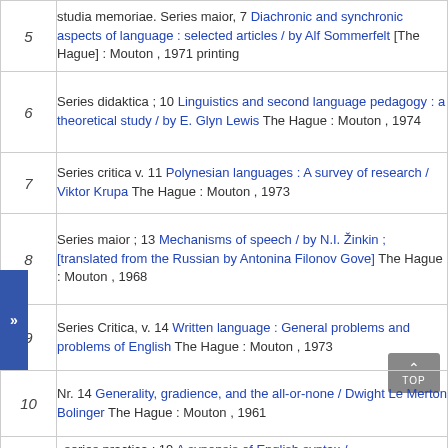| # | Entry |
| --- | --- |
| 5 | studia memoriae. Series maior, 7 Diachronic and synchronic aspects of language : selected articles / by Alf Sommerfelt [The Hague] : Mouton , 1971 printing |
| 6 | Series didaktica ; 10 Linguistics and second language pedagogy : a theoretical study / by E. Glyn Lewis The Hague : Mouton , 1974 |
| 7 | Series critica v. 11 Polynesian languages : A survey of research / Viktor Krupa The Hague : Mouton , 1973 |
| 8 | Series maior ; 13 Mechanisms of speech / by N.I. Žinkin ; [translated from the Russian by Antonina Filonov Gove] The Hague : Mouton , 1968 |
| 9 | Series Critica, v. 14 Written language : General problems and problems of English The Hague : Mouton , 1973 |
| 10 | Nr. 14 Generality, gradience, and the all-or-none / Dwight Le Merton Bolinger The Hague : Mouton , 1961 |
| 11 | . series practica ; 19 A synopsis of English syntax / Eugene A. Nida 2d ed. — The Hague : London : Mouton |